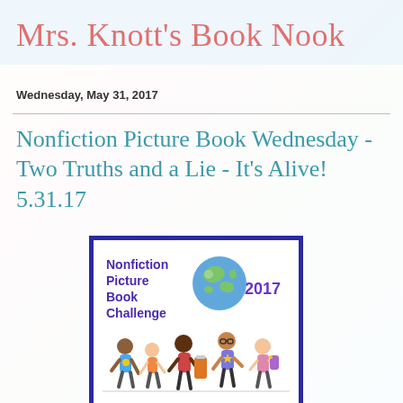Mrs. Knott's Book Nook
Wednesday, May 31, 2017
Nonfiction Picture Book Wednesday - Two Truths and a Lie - It's Alive! 5.31.17
[Figure (illustration): Nonfiction Picture Book Challenge 2017 badge showing children around a globe]